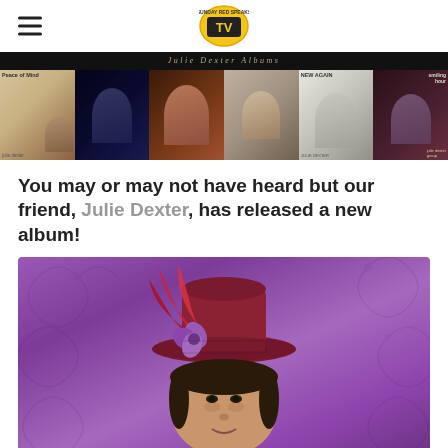TV (logo)
[Figure (photo): Banner showing multiple Julie Dexter album covers including Peace of Mind and New Again, with text 'Julie Dexter Albums']
You may or may not have heard but our friend, Julie Dexter, has released a new album!
[Figure (photo): Julie Dexter wearing a dark red/maroon top hat with red feathers and purple flowers, against a purple floral background]